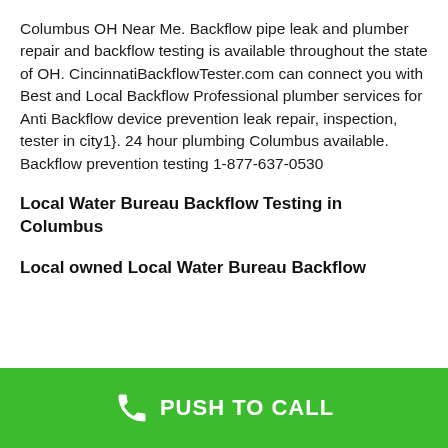Columbus OH Near Me. Backflow pipe leak and plumber repair and backflow testing is available throughout the state of OH. CincinnatiBackflowTester.com can connect you with Best and Local Backflow Professional plumber services for Anti Backflow device prevention leak repair, inspection, tester in city1}. 24 hour plumbing Columbus available. Backflow prevention testing 1-877-637-0530
Local Water Bureau Backflow Testing in Columbus
Local owned Local Water Bureau Backflow
[Figure (infographic): Green call-to-action bar at the bottom with a white phone icon and bold white text reading 'PUSH TO CALL']